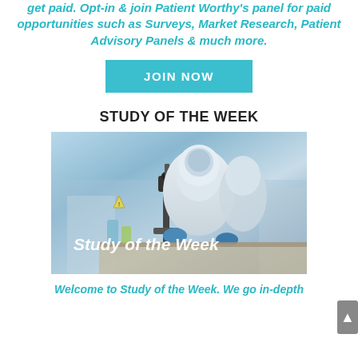get paid. Opt-in & join Patient Worthy's panel for paid opportunities such as Surveys, Market Research, Patient Advisory Panels & much more.
[Figure (other): Teal/cyan rectangular button with white bold text reading JOIN NOW]
STUDY OF THE WEEK
[Figure (photo): Photo of a scientist in white protective gear and blue gloves using a microscope in a laboratory. White text overlay reads 'Study of the Week' in italic font.]
Welcome to Study of the Week. We go in-depth